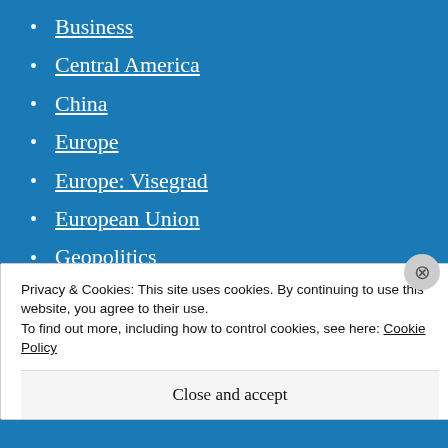Business
Central America
China
Europe
Europe: Visegrad
European Union
Geopolitics
Hezbollah
Info and Technology
International fashion
Japan art
Privacy & Cookies: This site uses cookies. By continuing to use this website, you agree to their use.
To find out more, including how to control cookies, see here: Cookie Policy
Close and accept